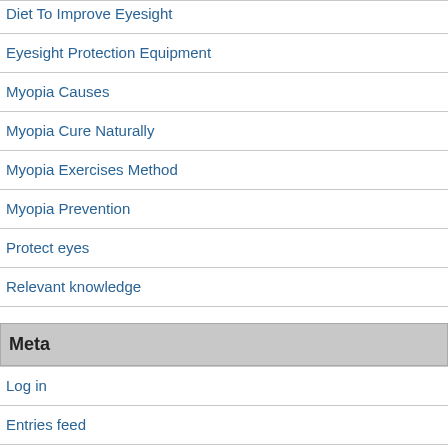Diet To Improve Eyesight
Eyesight Protection Equipment
Myopia Causes
Myopia Cure Naturally
Myopia Exercises Method
Myopia Prevention
Protect eyes
Relevant knowledge
Meta
Log in
Entries feed
Comments feed
WordPress.org